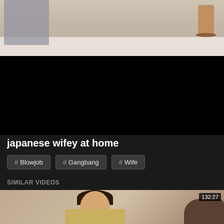[Figure (screenshot): Video player showing two people at a table, partially visible at top]
japanese wifey at home
# Blowjob
# Gangbang
# Wife
SIMILAR VIDEOS
[Figure (screenshot): Thumbnail of similar video, duration 132:27]